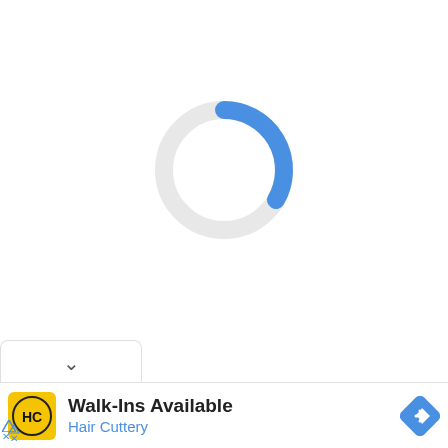[Figure (other): A circular loading spinner/progress indicator. A thick light gray circle with a blue arc covering approximately the top-right quarter (roughly 12 o'clock to 4 o'clock position).]
[Figure (other): A UI chevron/dropdown button bar at bottom-left with a downward-pointing chevron symbol.]
[Figure (other): An advertisement banner for Hair Cuttery featuring a yellow logo with 'HC' text, headline 'Walk-Ins Available', subtitle 'Hair Cuttery' in blue, and a blue navigation/direction diamond icon on the right. Small ad indicator triangle and x at bottom-left.]